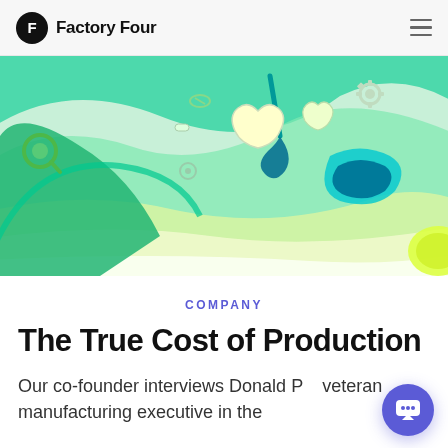Factory Four
[Figure (illustration): Colorful abstract illustration with green, teal, and yellow wavy shapes, featuring dental/medical icons including teeth, a gear, a dental tool, and other small objects floating on a flowing green landscape background.]
COMPANY
The True Cost of Production
Our co-founder interviews Donald P... veteran manufacturing executive in the